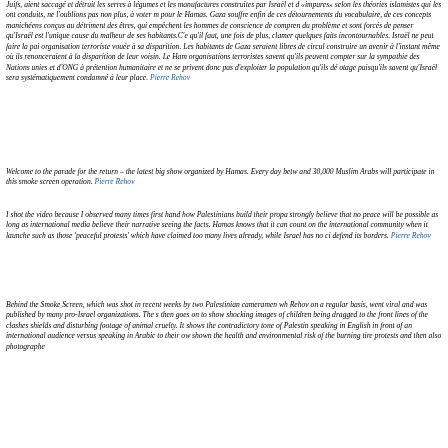Juifs, aient saccagé et détruit les serres à légumes et les manufactures construites par Israël et d «impures» selon les théories islamistes qui les ont conduits, ne l'oublions pas non plus, à voter m pour le Hamas. Gaza souffre enfin de ces détournements du vocabulaire, de ces concepts manichéens conçus au détriment des êtres, qui empêchent les hommes de conscience de compren du problème et sont forcés de penser qu'Israël est l'unique cause du malheur de ses habitants.C'e qu'il faut, une fois de plus, clamer quelques faits incontournables. Israël ne peut faire la pai organisation terroriste vouée à sa disparition. Les habitants de Gaza seraient libres de circul construire un avenir à l'instant même où ils renonceraient à la disparition de leur voisin. Le Ham organisations terroristes savent qu'ils peuvent compter sur la sympathie des Nations unies et d'ONG à prétention humanitaire et ne se privent donc pas d'exploiter la population qu'ils dé otage puisqu'ils savent qu'Israël sera systématiquement condamné à leur place. Pierre Rehov
Welcome to the parade for the return – the latest big show organized by Hamas. Every day betw and 30,000 Muslim Arabs will participate in this smoke screen operation. Pierre Rehov
I shot the video because I observed many times first hand how Palestinians build their propa strongly believe that no peace will be possible as long as international media believe their narrative seeing the facts. Hamas knows that it can count on the international community when it launche such as those 'peaceful protests' which have claimed too many lives already, while Israel has no ci defend its borders. Pierre Rehov
Behind the Smoke Screen, which was shot in recent weeks by two Palestinian cameramen wh Rehov on a regular basis, went viral and was published by many pro-Israel organizations. The s then goes on to show shocking images of children being dragged to the front lines of the clashes shields and disturbing footage of animal cruelty. It shows the contradictory tone of Palestin speaking in English in front of an international audience versus speaking in Arabic to their ow shown the health and environmental risk of the burning tire protests and then also photographe